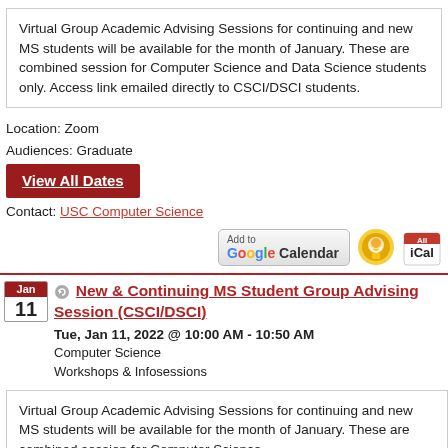Virtual Group Academic Advising Sessions for continuing and new MS students will be available for the month of January. These are combined session for Computer Science and Data Science students only. Access link emailed directly to CSCI/DSCI students.
Location: Zoom
Audiences: Graduate
View All Dates
Contact: USC Computer Science
[Figure (other): Add to Google Calendar, Outlook and iCal buttons]
New & Continuing MS Student Group Advising Session (CSCI/DSCI)
Tue, Jan 11, 2022 @ 10:00 AM - 10:50 AM
Computer Science
Workshops & Infosessions
Virtual Group Academic Advising Sessions for continuing and new MS students will be available for the month of January. These are combined session for Computer Science